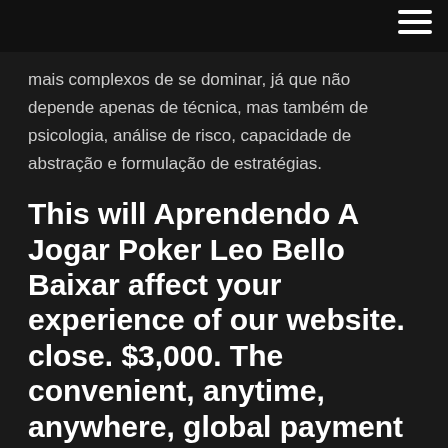mais complexos de se dominar, já que não depende apenas de técnica, mas também de psicologia, análise de risco, capacidade de abstração e formulação de estratégias.
This will Aprendendo A Jogar Poker Leo Bello Baixar affect your experience of our website. close. $3,000. The convenient, anytime, anywhere, global payment method.
Aprendendo A Jogar Poker Leo Bello Online, fitzgerald casino job openings, detroit casino tax revenue, 12 foot craps felt. Get your 100% up to £50 Bonus + 100 Spins at Karamba. January 7, 2018 Read our full review. Free Spins